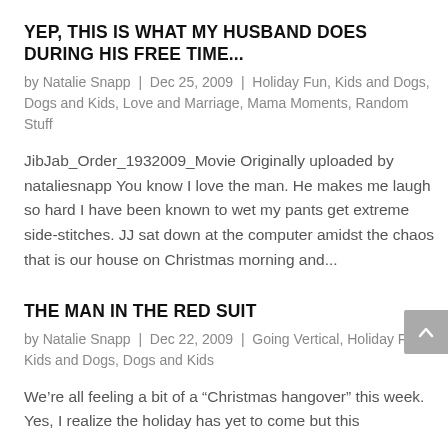YEP, THIS IS WHAT MY HUSBAND DOES DURING HIS FREE TIME...
by Natalie Snapp | Dec 25, 2009 | Holiday Fun, Kids and Dogs, Dogs and Kids, Love and Marriage, Mama Moments, Random Stuff
JibJab_Order_1932009_Movie Originally uploaded by nataliesnapp You know I love the man. He makes me laugh so hard I have been known to wet my pants get extreme side-stitches. JJ sat down at the computer amidst the chaos that is our house on Christmas morning and...
THE MAN IN THE RED SUIT
by Natalie Snapp | Dec 22, 2009 | Going Vertical, Holiday Fun, Kids and Dogs, Dogs and Kids
We’re all feeling a bit of a “Christmas hangover” this week. Yes, I realize the holiday has yet to come but this